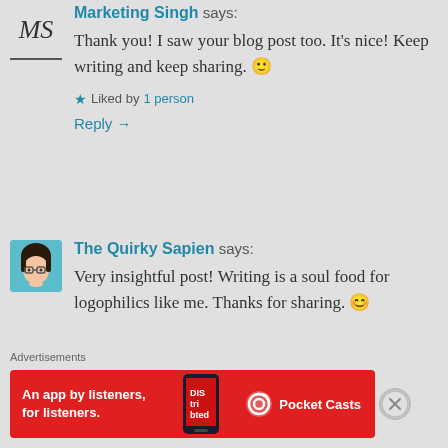Marketing Singh says:
Thank you! I saw your blog post too. It's nice! Keep writing and keep sharing. 🙂
★ Liked by 1 person
Reply →
The Quirky Sapien says:
Very insightful post! Writing is a soul food for logophilics like me. Thanks for sharing. 😊
Advertisements
[Figure (other): Pocket Casts advertisement banner: red background with text 'An app by listeners, for listeners.' and Pocket Casts logo with a stylized phone image]